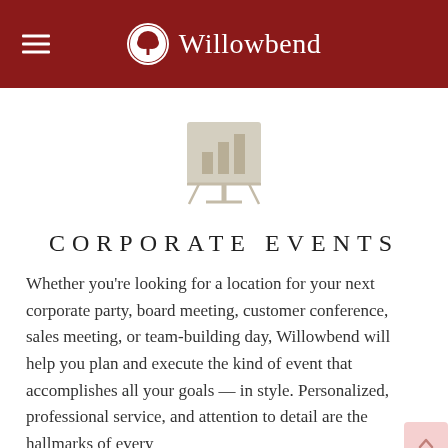Willowbend
[Figure (illustration): A presentation board/easel icon with bar chart, rendered in light beige/tan color]
CORPORATE EVENTS
Whether you're looking for a location for your next corporate party, board meeting, customer conference, sales meeting, or team-building day, Willowbend will help you plan and execute the kind of event that accomplishes all your goals — in style. Personalized, professional service, and attention to detail are the hallmarks of every